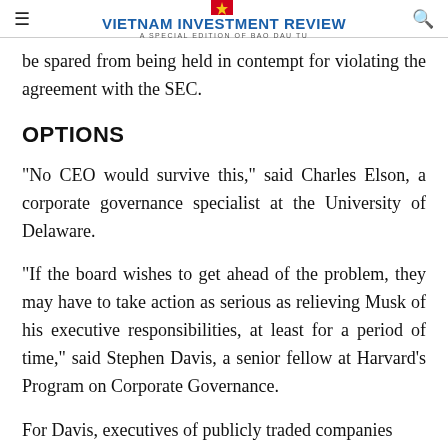Vietnam Investment Review — A Special Edition of Bao Dau Tu
be spared from being held in contempt for violating the agreement with the SEC.
OPTIONS
"No CEO would survive this," said Charles Elson, a corporate governance specialist at the University of Delaware.
"If the board wishes to get ahead of the problem, they may have to take action as serious as relieving Musk of his executive responsibilities, at least for a period of time," said Stephen Davis, a senior fellow at Harvard's Program on Corporate Governance.
For Davis, executives of publicly traded companies